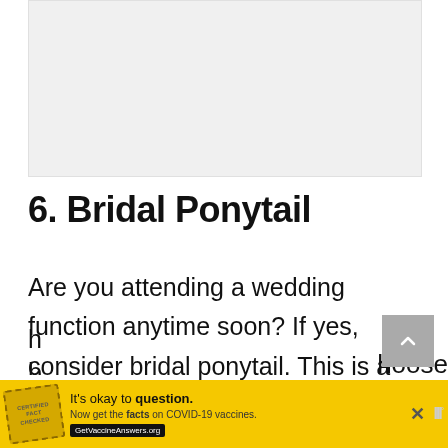[Figure (photo): Image placeholder area at top of article, light gray background]
6. Bridal Ponytail
Are you attending a wedding function anytime soon? If yes, consider bridal ponytail. This is a simple yet outstanding hairstyle. Proceed and give your entire h...
[Figure (other): Advertisement banner: yellow background, It's okay to question. Now get the facts on COVID-19 vaccines. GetVaccineAnswers.org]